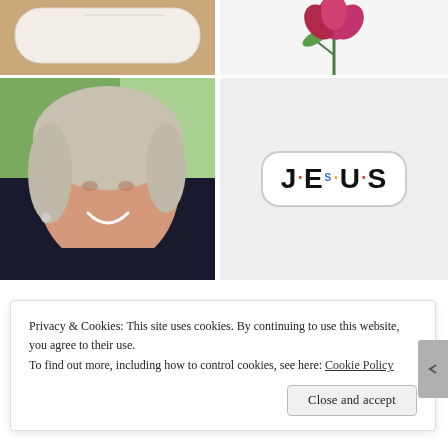[Figure (photo): Top-left: white oval dish/tray on wooden background]
[Figure (photo): Top-right: pink/red flowers (peonies or similar) on white background]
[Figure (photo): Middle-left: portrait of a smiling middle-aged woman with grey/blonde hair outdoors]
[Figure (illustration): Middle-right: JESUS sticker styled like the Friends TV show logo with colored dots between letters]
Privacy & Cookies: This site uses cookies. By continuing to use this website, you agree to their use.
To find out more, including how to control cookies, see here: Cookie Policy
Close and accept